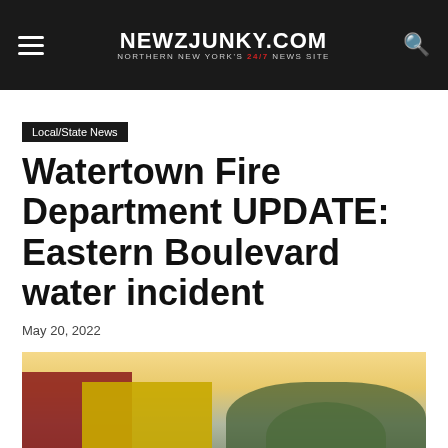NEWZJUNKY.COM — NORTHERN NEW YORK'S 24/7 NEWS SITE
Local/State News
Watertown Fire Department UPDATE: Eastern Boulevard water incident
May 20, 2022
[Figure (photo): Fire department vehicles including a red fire truck and yellow vehicle at the scene on Eastern Boulevard, with trees in the background at dusk/dawn with a warm sky.]